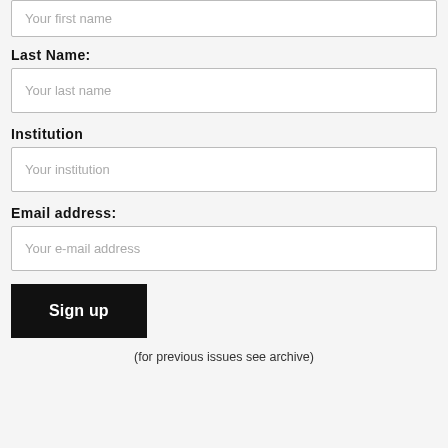Your first name
Last Name:
Your last name
Institution
Your institution
Email address:
Your e-mail address
Sign up
(for previous issues see archive)